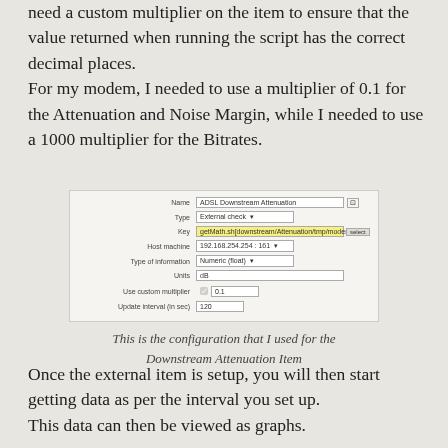need a custom multiplier on the item to ensure that the value returned when running the script has the correct decimal places.
For my modem, I needed to use a multiplier of 0.1 for the Attenuation and Noise Margin, while I needed to use a 1000 multiplier for the Bitrates.
[Figure (screenshot): Configuration form for ADSL Downstream Attenuation item showing fields: Name (ADSL Downstream Attenuation), Type (External check), Key (getMath.sh[downstream/Attenuation/tmp/modemstats] highlighted in yellow), Host machine (192.168.254.254 : 161), Type of information (Numeric (float)), Units (dB), Use custom multiplier checkbox checked with value 0.1, Update interval (in sec) 120]
This is the configuration that I used for the Downstream Attenuation Item
Once the external item is setup, you will then start getting data as per the interval you set up.
This data can then be viewed as graphs.